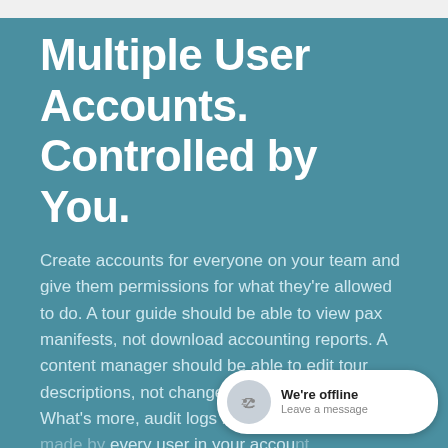Multiple User Accounts. Controlled by You.
Create accounts for everyone on your team and give them permissions for what they're allowed to do. A tour guide should be able to view pax manifests, not download accounting reports. A content manager should be able to edit tour descriptions, not change agent rate cards. What's more, audit logs record every ch... every user in your accou...
[Figure (other): Live chat widget showing 'We're offline' status with a 'Leave a message' link, overlaid on the bottom-right of the page.]